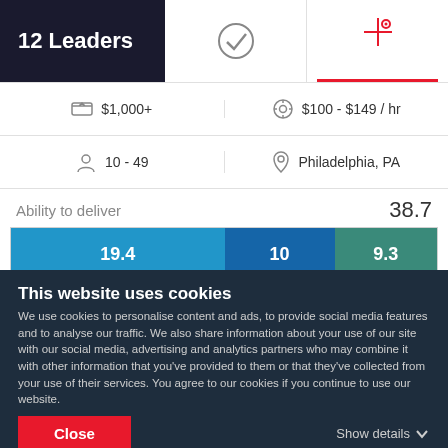12 Leaders
[Figure (stacked-bar-chart): Ability to deliver]
Ability to deliver	38.7
Reviews
This website uses cookies
We use cookies to personalise content and ads, to provide social media features and to analyse our traffic. We also share information about your use of our site with our social media, advertising and analytics partners who may combine it with other information that you've provided to them or that they've collected from your use of their services. You agree to our cookies if you continue to use our website.
Close
Show details